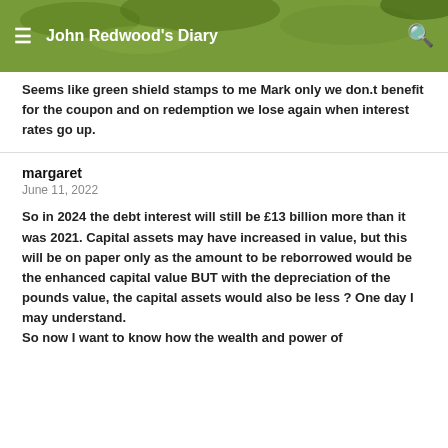John Redwood's Diary
Seems like green shield stamps to me Mark only we don.t benefit for the coupon and on redemption we lose again when interest rates go up.
margaret
June 11, 2022
So in 2024 the debt interest will still be £13 billion more than it was 2021. Capital assets may have increased in value, but this will be on paper only as the amount to be reborrowed would be the enhanced capital value BUT with the depreciation of the pounds value, the capital assets would also be less ? One day I may understand.
So now I want to know how the wealth and power of trillionaires would benefit or would be enhanced as it became the